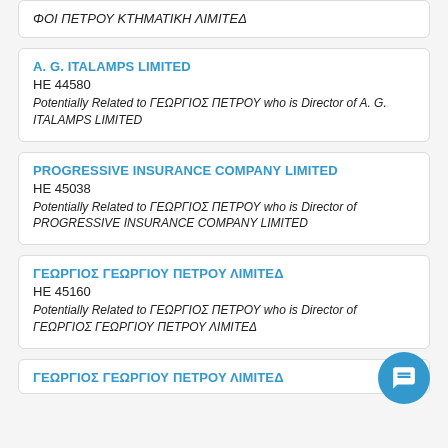ΦΟΙ ΠΕΤΡΟΥ ΚΤΗΜΑΤΙΚΗ ΛΙΜΙΤΕΔ
A. G. ITALAMPS LIMITED
HE 44580
Potentially Related to ΓΕΩΡΓΙΟΣ ΠΕΤΡΟΥ who is Director of A. G. ITALAMPS LIMITED
PROGRESSIVE INSURANCE COMPANY LIMITED
HE 45038
Potentially Related to ΓΕΩΡΓΙΟΣ ΠΕΤΡΟΥ who is Director of PROGRESSIVE INSURANCE COMPANY LIMITED
ΓΕΩΡΓΙΟΣ ΓΕΩΡΓΙΟΥ ΠΕΤΡΟΥ ΛΙΜΙΤΕΔ
HE 45160
Potentially Related to ΓΕΩΡΓΙΟΣ ΠΕΤΡΟΥ who is Director of ΓΕΩΡΓΙΟΣ ΓΕΩΡΓΙΟΥ ΠΕΤΡΟΥ ΛΙΜΙΤΕΔ
ΓΕΩΡΓΙΟΣ ΓΕΩΡΓΙΟΥ ΠΕΤΡΟΥ ΛΙΜΙΤΕΔ